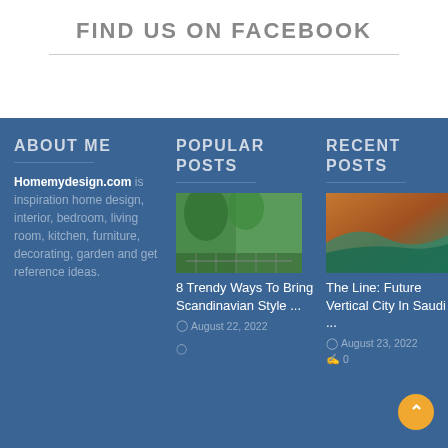FIND US ON FACEBOOK
ABOUT ME
POPULAR POSTS
RECENT POSTS
Homemydesign.com is inspiration home design, interior, bedroom, living room, kitchen, furniture, decorating, garden and get reference ideas.
[Figure (photo): Outdoor garden scene with vertical green plants and furniture]
8 Trendy Ways To Bring Scandinavian Style ...
August 22, 2022
[Figure (photo): Abstract landscape art with orange and teal tones]
The Line: Future Vertical City In Saudi ...
August 23, 2022
0